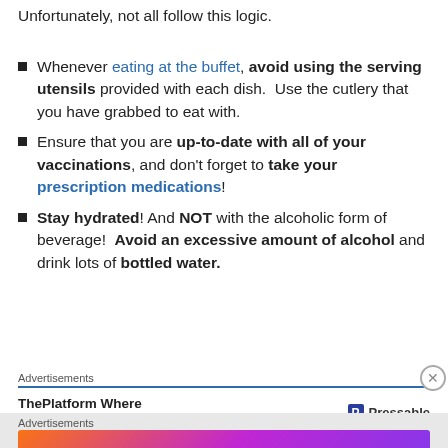Unfortunately, not all follow this logic.
Whenever eating at the buffet, avoid using the serving utensils provided with each dish. Use the cutlery that you have grabbed to eat with.
Ensure that you are up-to-date with all of your vaccinations, and don't forget to take your prescription medications!
Stay hydrated! And NOT with the alcoholic form of beverage! Avoid an excessive amount of alcohol and drink lots of bottled water.
[Figure (infographic): Advertisements banner: ThePlatform Where WordPress Works Best - Pressable logo]
[Figure (infographic): Advertisements banner: Fandom on Tumblr colorful gradient ad]